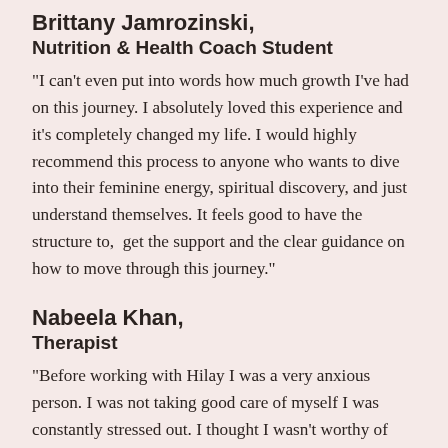Brittany Jamrozinski,
Nutrition & Health Coach Student
“I can’t even put into words how much growth I’ve had on this journey. I absolutely loved this experience and it’s completely changed my life. I would highly recommend this process to anyone who wants to dive into their feminine energy, spiritual discovery, and just understand themselves. It feels good to have the structure to,  get the support and the clear guidance on how to move through this journey.”
Nabeela Khan,
Therapist
“Before working with Hilay I was a very anxious person. I was not taking good care of myself I was constantly stressed out. I thought I wasn’t worthy of love or taking up space in the world. Something was